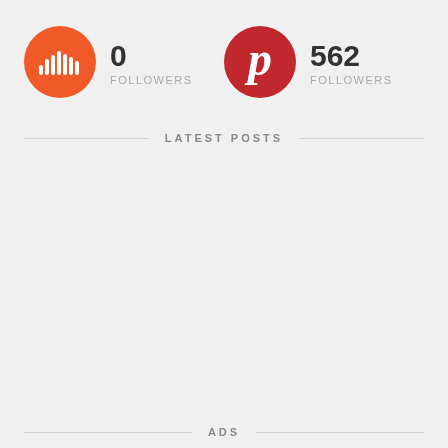[Figure (logo): SoundCloud orange circle icon with sound wave bars]
0
FOLLOWERS
[Figure (logo): Pinterest red circle icon with P letter]
562
FOLLOWERS
LATEST POSTS
ADS